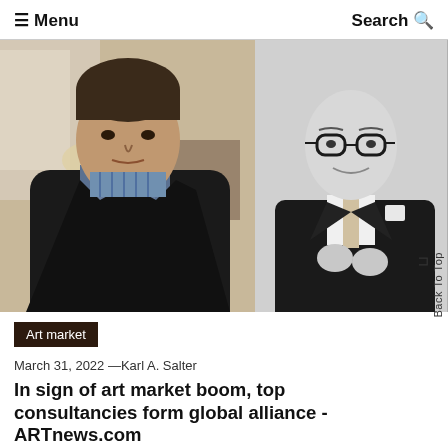☰ Menu   Search 🔍
[Figure (photo): Two photos side by side: left is a color photo of a middle-aged man in a dark jacket and plaid shirt, right is a black-and-white photo of a bald man in a dark suit adjusting his cufflinks.]
Art market
March 31, 2022 —Karl A. Salter
In sign of art market boom, top consultancies form global alliance - ARTnews.com
As the art market heats up ahead of the May auction, two major